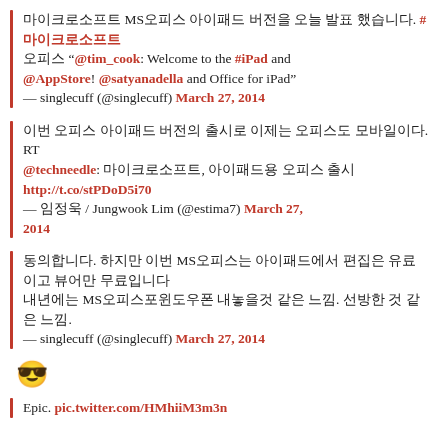마이크로소프트 MS오피스 아이패드 버전을 오늘 발표 했습니다. #마이크로소프트 오피스 "@tim_cook: Welcome to the #iPad and @AppStore! @satyanadella and Office for iPad" — singlecuff (@singlecuff) March 27, 2014
이번 오피스 아이패드 버전의 출시로 이제는 오피스도 모바일이다. RT @techneedle: 마이크로소프트, 아이패드용 오피스 출시 http://t.co/stPDoD5i70 — 임정욱 / Jungwook Lim (@estima7) March 27, 2014
동의합니다. 하지만 이번 MS오피스는 아이패드에서 편집은 유료이고 뷰어만 무료입니다 내년에는 MS오피스포윈도우폰 내놓을것 같은 느낌. 선방한 것 같은 느낌. — singlecuff (@singlecuff) March 27, 2014
😎
Epic. pic.twitter.com/HMhiiM3m3n